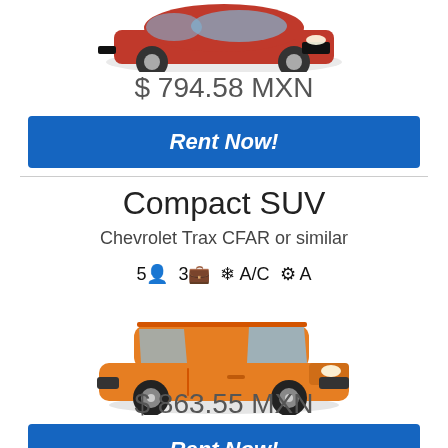[Figure (photo): Red Chevrolet Cruze sedan car photo, partially cropped at top]
$ 794.58 MXN
Rent Now!
Compact SUV
Chevrolet Trax CFAR or similar
5 [person icon] 3 [bag icon] ❄ A/C ⚙ A
[Figure (photo): Orange Chevrolet Trax compact SUV car photo]
$ 863.55 MXN
Rent Now!